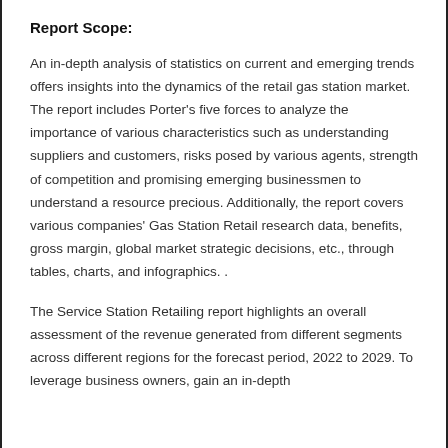Report Scope:
An in-depth analysis of statistics on current and emerging trends offers insights into the dynamics of the retail gas station market. The report includes Porter's five forces to analyze the importance of various characteristics such as understanding suppliers and customers, risks posed by various agents, strength of competition and promising emerging businessmen to understand a resource precious. Additionally, the report covers various companies' Gas Station Retail research data, benefits, gross margin, global market strategic decisions, etc., through tables, charts, and infographics. .
The Service Station Retailing report highlights an overall assessment of the revenue generated from different segments across different regions for the forecast period, 2022 to 2029. To leverage business owners, gain an in-depth